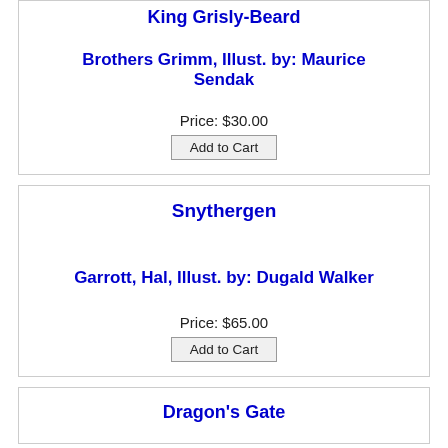King Grisly-Beard
Brothers Grimm, Illust. by: Maurice Sendak
Price: $30.00
Add to Cart
Snythergen
Garrott, Hal, Illust. by: Dugald Walker
Price: $65.00
Add to Cart
Dragon's Gate